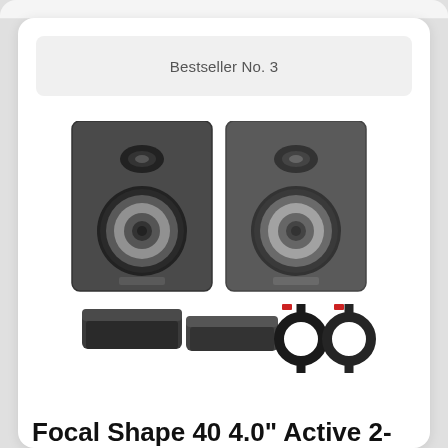Bestseller No. 3
[Figure (photo): Two Focal Shape 40 studio monitor speakers (dark gray/black) side by side, with two monitor isolation pads and two red-tagged XLR cables below them.]
Focal Shape 40 4.0" Active 2-